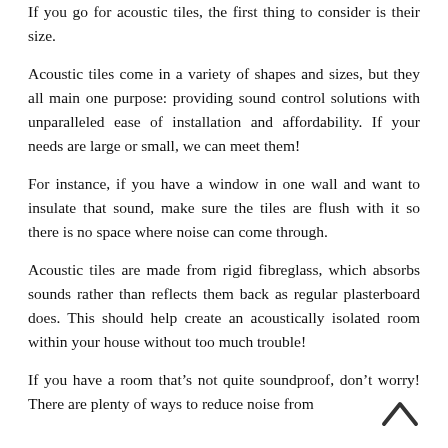If you go for acoustic tiles, the first thing to consider is their size.
Acoustic tiles come in a variety of shapes and sizes, but they all main one purpose: providing sound control solutions with unparalleled ease of installation and affordability. If your needs are large or small, we can meet them!
For instance, if you have a window in one wall and want to insulate that sound, make sure the tiles are flush with it so there is no space where noise can come through.
Acoustic tiles are made from rigid fibreglass, which absorbs sounds rather than reflects them back as regular plasterboard does. This should help create an acoustically isolated room within your house without too much trouble!
If you have a room that’s not quite soundproof, don’t worry! There are plenty of ways to reduce noise from